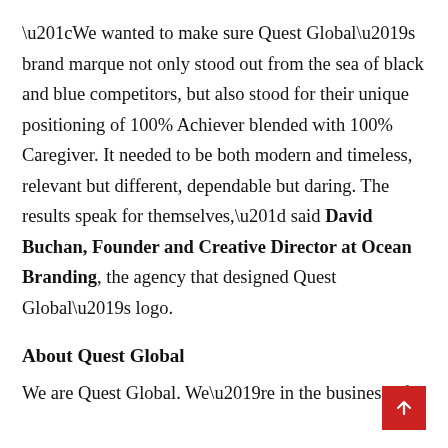“We wanted to make sure Quest Global’s brand marque not only stood out from the sea of black and blue competitors, but also stood for their unique positioning of 100% Achiever blended with 100% Caregiver. It needed to be both modern and timeless, relevant but different, dependable but daring. The results speak for themselves,” said David Buchan, Founder and Creative Director at Ocean Branding, the agency that designed Quest Global’s logo.
About Quest Global
We are Quest Global. We’re in the business of